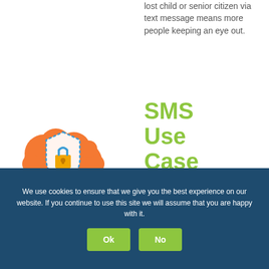lost child or senior citizen via text message means more people keeping an eye out.
[Figure (illustration): Orange cloud with a shield and padlock icon in the center, representing SMS security or messaging protection.]
SMS Use Case
In 2012, a franchisor of over 80 stores was looking for a way to engage customers
We use cookies to ensure that we give you the best experience on our website. If you continue to use this site we will assume that you are happy with it.
Ok
No